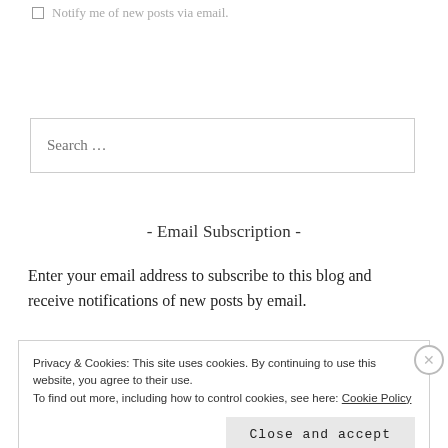Notify me of new posts via email.
Search …
- Email Subscription -
Enter your email address to subscribe to this blog and receive notifications of new posts by email.
Privacy & Cookies: This site uses cookies. By continuing to use this website, you agree to their use. To find out more, including how to control cookies, see here: Cookie Policy
Close and accept